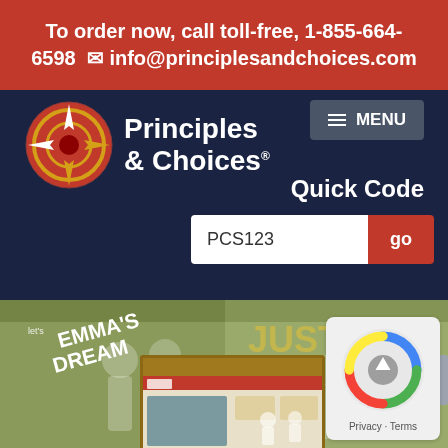To order now, call toll-free, 1-855-664-6598   info@principlesandchoices.com
[Figure (logo): Principles & Choices logo with compass icon on navy background]
MENU
Quick Code
PCS123
[Figure (photo): Book covers for Emma's Dream and Emma's Justice, and a screenshot of the Principles & Choices website]